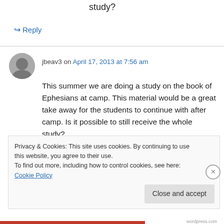study?
↳ Reply
jbeav3 on April 17, 2013 at 7:56 am
This summer we are doing a study on the book of Ephesians at camp. This material would be a great take away for the students to continue with after camp. Is it possible to still receive the whole study?
Privacy & Cookies: This site uses cookies. By continuing to use this website, you agree to their use.
To find out more, including how to control cookies, see here: Cookie Policy
Close and accept